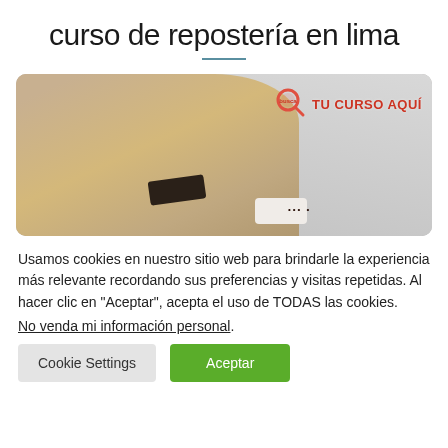curso de repostería en lima
[Figure (photo): A chef's hands decorating a pastry/cake with chocolate pieces, wearing a white chef coat, with a 'Busca Tu Curso Aquí' logo overlay in the top right corner of the image.]
Usamos cookies en nuestro sitio web para brindarle la experiencia más relevante recordando sus preferencias y visitas repetidas. Al hacer clic en "Aceptar", acepta el uso de TODAS las cookies. No venda mi información personal.
Cookie Settings
Aceptar